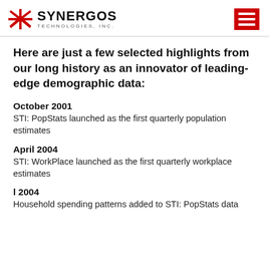SYNERGOS TECHNOLOGIES, INC.
Here are just a few selected highlights from our long history as an innovator of leading-edge demographic data:
October 2001
STI: PopStats launched as the first quarterly population estimates
April 2004
STI: WorkPlace launched as the first quarterly workplace estimates
l 2004
Household spending patterns added to STI: PopStats data